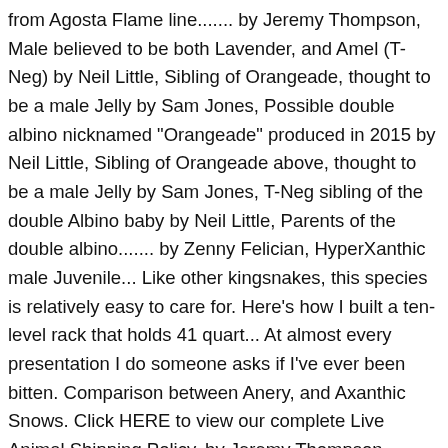from Agosta Flame line....... by Jeremy Thompson, Male believed to be both Lavender, and Amel (T-Neg) by Neil Little, Sibling of Orangeade, thought to be a male Jelly by Sam Jones, Possible double albino nicknamed "Orangeade" produced in 2015 by Neil Little, Sibling of Orangeade above, thought to be a male Jelly by Sam Jones, T-Neg sibling of the double Albino baby by Neil Little, Parents of the double albino....... by Zenny Felician, HyperXanthic male Juvenile... Like other kingsnakes, this species is relatively easy to care for. Here's how I built a ten-level rack that holds 41 quart... At almost every presentation I do someone asks if I've ever been bitten. Comparison between Anery, and Axanthic Snows. Click HERE to view our complete Live Animal Shipping Policy. by Jeremy Thompson, ....Purple looking baby Jelly.... There are two other possible subspecies of L. getula that are found in Florida. Provide several climbing areas on branches, logs, & plants. animals and pic by Brandon Osborne, White Brooks .....animal and pic by Brandon